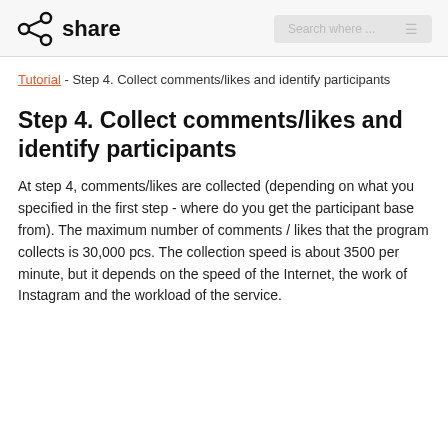share
Tutorial - Step 4. Collect comments/likes and identify participants
Step 4. Collect comments/likes and identify participants
At step 4, comments/likes are collected (depending on what you specified in the first step - where do you get the participant base from). The maximum number of comments / likes that the program collects is 30,000 pcs. The collection speed is about 3500 per minute, but it depends on the speed of the Internet, the work of Instagram and the workload of the service.